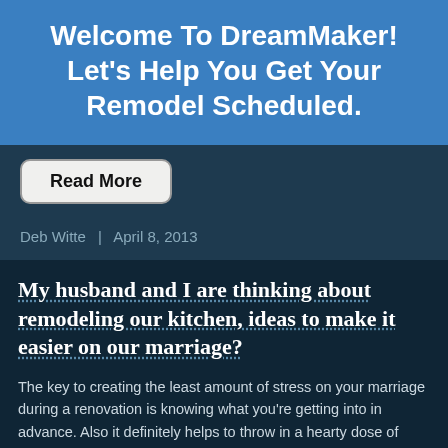Welcome To DreamMaker! Let's Help You Get Your Remodel Scheduled.
Read More
Deb Witte  |  April 8, 2013
My husband and I are thinking about remodeling our kitchen, ideas to make it easier on our marriage?
The key to creating the least amount of stress on your marriage during a renovation is knowing what you're getting into in advance. Also it definitely helps to throw in a hearty dose of flexibility, humor and patience along the way. Below Are Other Helpful Suggestions – Know Your Bottom Line Money is the primary